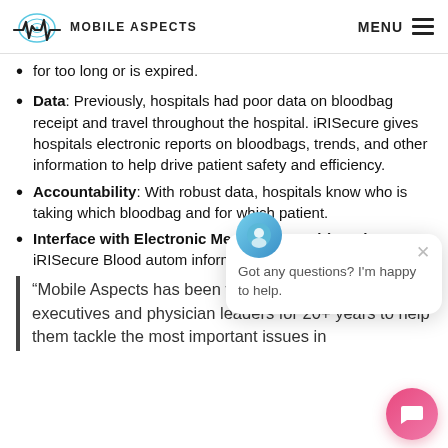MOBILE ASPECTS | MENU
for too long or is expired.
Data: Previously, hospitals had poor data on bloodbag receipt and travel throughout the hospital. iRISecure gives hospitals electronic reports on bloodbags, trends, and other information to help drive patient safety and efficiency.
Accountability: With robust data, hospitals know who is taking which bloodbag and for which patient.
Interface with Electronic Medical Record (EMR): iRISecure Blood autom... information into lead...
“Mobile Aspects has been working closely with hospital executives and physician leaders for 20+ years to help them tackle the most important issues in